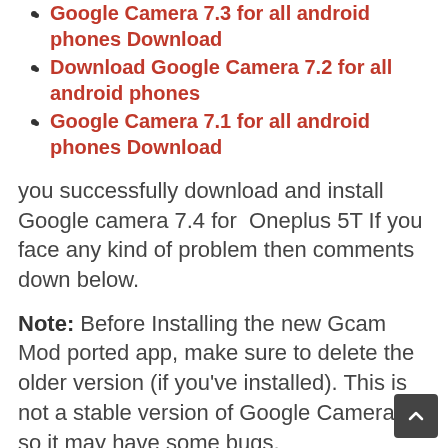Google Camera 7.3 for all android phones Download
Download Google Camera 7.2 for all android phones
Google Camera 7.1 for all android phones Download
you successfully download and install Google camera 7.4 for Oneplus 5T If you face any kind of problem then comments down below.
Note: Before Installing the new Gcam Mod ported app, make sure to delete the older version (if you've installed). This is not a stable version of Google Camera, so it may have some bugs.
#GCam 7.4 for Oneplus 5T  #Gcam 7.4 MOD APK Download  #Google Camera 7.4 for Oneplus 5T  #Goo